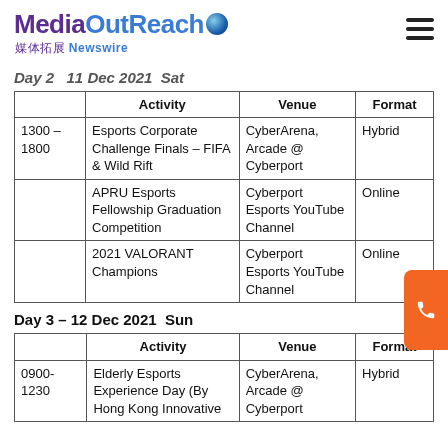MediaOutReach Newswire
Day 2 – 11 Dec 2021  Sat
|  | Activity | Venue | Format |
| --- | --- | --- | --- |
| 1300 – 1800 | Esports Corporate Challenge Finals – FIFA & Wild Rift | CyberArena, Arcade @ Cyberport | Hybrid |
|  | APRU Esports Fellowship Graduation Competition | Cyberport Esports YouTube Channel | Online |
|  | 2021 VALORANT Champions | Cyberport Esports YouTube Channel | Online |
Day 3 – 12 Dec 2021  Sun
|  | Activity | Venue | Format |
| --- | --- | --- | --- |
| 0900-1230 | Elderly Esports Experience Day (By Hong Kong Innovative | CyberArena, Arcade @ Cyberport | Hybrid |